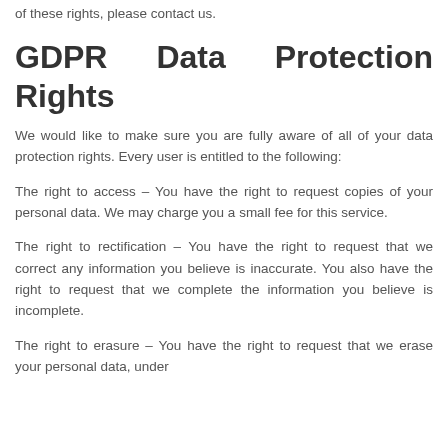of these rights, please contact us.
GDPR Data Protection Rights
We would like to make sure you are fully aware of all of your data protection rights. Every user is entitled to the following:
The right to access – You have the right to request copies of your personal data. We may charge you a small fee for this service.
The right to rectification – You have the right to request that we correct any information you believe is inaccurate. You also have the right to request that we complete the information you believe is incomplete.
The right to erasure – You have the right to request that we erase your personal data, under